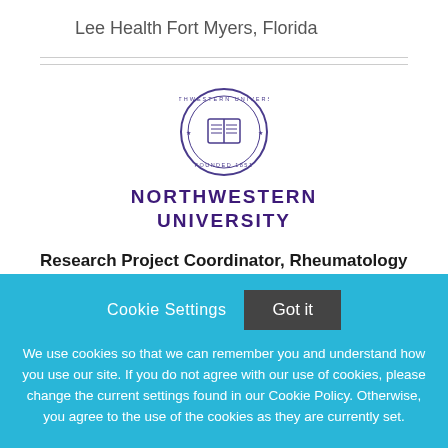Lee Health
Fort Myers, Florida
[Figure (logo): Northwestern University seal/crest logo in purple]
NORTHWESTERN
UNIVERSITY
Research Project Coordinator, Rheumatology
Cookie Settings
Got it
We use cookies so that we can remember you and understand how you use our site. If you do not agree with our use of cookies, please change the current settings found in our Cookie Policy. Otherwise, you agree to the use of the cookies as they are currently set.